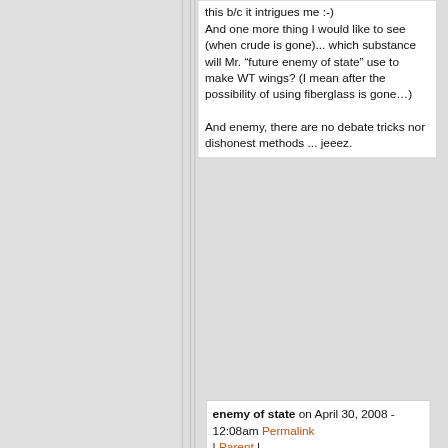this b/c it intrigues me :-) And one more thing I would like to see (when crude is gone)... which substance will Mr. “future enemy of state” use to make WT wings? (I mean after the possibility of using fiberglass is gone…)

And enemy, there are no debate tricks nor dishonest methods ... jeeez.
enemy of state on April 30, 2008 - 12:08am Permalink | Parent |